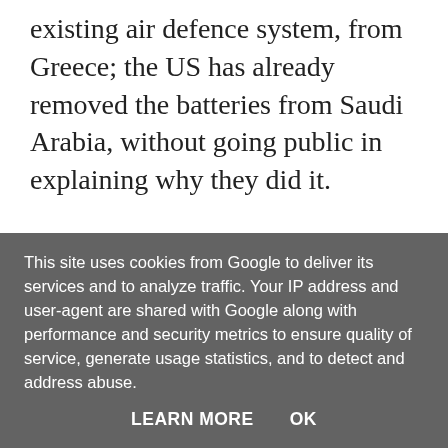existing air defence system, from Greece; the US has already removed the batteries from Saudi Arabia, without going public in explaining why they did it.
Although more often than not, these missiles and drones are destroyed in the air, Houthis just have to be lucky just once by hitting a major oil facility that can potentially turn the global crude oil supply upside down; the
This site uses cookies from Google to deliver its services and to analyze traffic. Your IP address and user-agent are shared with Google along with performance and security metrics to ensure quality of service, generate usage statistics, and to detect and address abuse.
LEARN MORE   OK